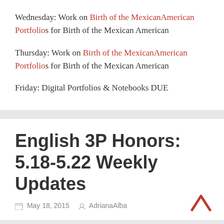Wednesday: Work on Birth of the MexicanAmerican Portfolios for Birth of the Mexican American
Thursday: Work on Birth of the MexicanAmerican Portfolios for Birth of the Mexican American
Friday: Digital Portfolios & Notebooks DUE
English 3P Honors: 5.18-5.22 Weekly Updates
May 18, 2015  AdrianaAlba